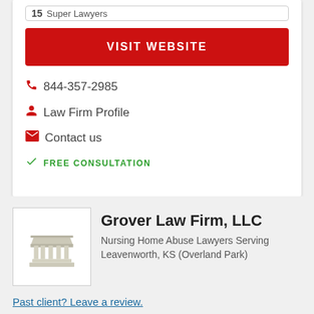[Figure (other): Partial badge showing '15 Super Lawyers']
VISIT WEBSITE
844-357-2985
Law Firm Profile
Contact us
FREE CONSULTATION
Grover Law Firm, LLC
Nursing Home Abuse Lawyers Serving Leavenworth, KS (Overland Park)
Past client? Leave a review.
Law Firm Profile